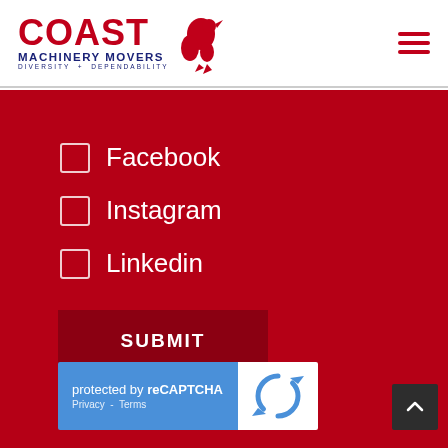Coast Machinery Movers - Diversity + Dependability
Facebook
Instagram
Linkedin
SUBMIT
protected by reCAPTCHA Privacy - Terms